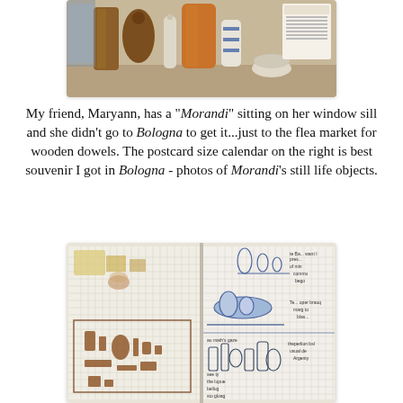[Figure (photo): Photo of a still life arrangement of wooden dowels, vases, and objects on a shelf, with a small calendar visible on the right side.]
My friend, Maryann, has a "Morandi" sitting on her window sill and she didn't go to Bologna to get it...just to the flea market for wooden dowels. The postcard size calendar on the right is best souvenir I got in Bologna - photos of Morandi's still life objects.
[Figure (photo): Photo of an open sketchbook showing watercolor and ink sketches of still life arrangements with bottles, jars, and vessels, with handwritten notes.]